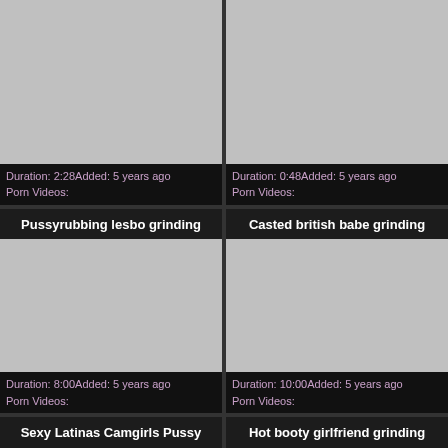[Figure (screenshot): Video thumbnail placeholder (gray) for first top-left cell]
Duration: 2:28Added: 5 years ago
Porn Videos:
[Figure (screenshot): Video thumbnail placeholder (gray) for first top-right cell]
Duration: 0:48Added: 5 years ago
Porn Videos:
Pussyrubbing lesbo grinding
[Figure (screenshot): Video thumbnail placeholder (gray) for second left cell]
Duration: 8:00Added: 5 years ago
Porn Videos:
Casted british babe grinding
[Figure (screenshot): Video thumbnail placeholder (gray) for second right cell]
Duration: 10:00Added: 5 years ago
Porn Videos:
Sexy Latinas Camgirls Pussy
Hot booty girlfriend grinding